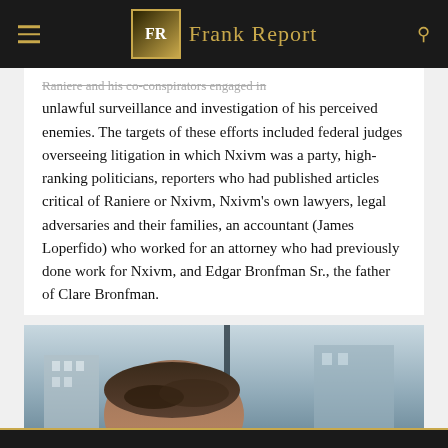Frank Report
Raniere and his co-conspirators engaged in unlawful surveillance and investigation of his perceived enemies. The targets of these efforts included federal judges overseeing litigation in which Nxivm was a party, high-ranking politicians, reporters who had published articles critical of Raniere or Nxivm, Nxivm’s own lawyers, legal adversaries and their families, an accountant (James Loperfido) who worked for an attorney who had previously done work for Nxivm, and Edgar Bronfman Sr., the father of Clare Bronfman.
[Figure (photo): Partial photo of a person from the shoulders up, outdoor urban background with buildings visible.]